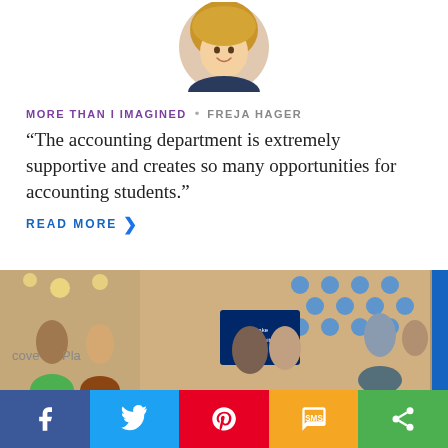[Figure (photo): Circular profile photo of Freja Hager, a young woman with blonde hair, smiling.]
MORE THAN I IMAGINED • FREJA HAGER
“The accounting department is extremely supportive and creates so many opportunities for accounting students.”
READ MORE
[Figure (photo): Group photo of students at a Drake University event, with a decorative wall featuring blue dots and light bulb decorations in the background.]
f | Twitter bird | Pinterest P | SMS | Share icon